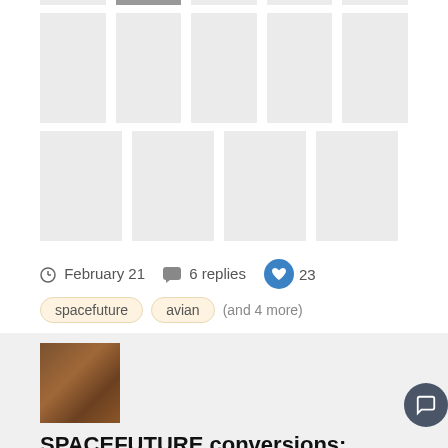[Figure (photo): Grid of image thumbnails in a gallery layout, mostly gray placeholder boxes with one partially visible photo in top row]
February 21   6 replies   23
spacefuture   avian   (and 4 more)
[Figure (photo): User avatar showing a painted or sculpted figure in warm brown tones]
SPACEFUTURE conversions: Lifecycle and Etiology of the BRAINCRAB!
Rigel posted a topic in Show off: Sculpts, Conversion, Terrain.
A barren, frozen planet. A pristine icefield, burnished and cleared by constant katabatic gales. Graven in elegant Old High Martian glyphs a